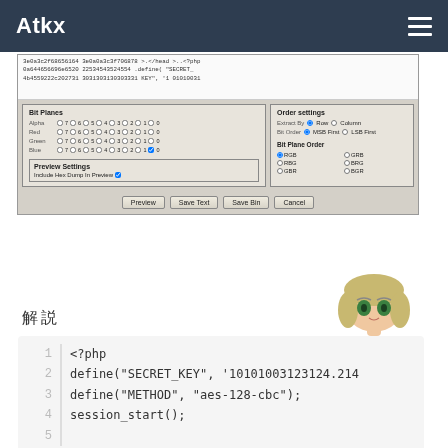Atkx
[Figure (screenshot): Screenshot of a steganography tool showing Bit Planes panel with Alpha/Red/Green/Blue checkboxes for bits 7-0, Order Settings panel with Extract By Row/Column and Bit Order MSB First/LSB First options, Bit Plane Order RGB/GRB/RBG/BRG/GBR/BGR radio buttons, Preview Settings with Include Hex Dump in Preview checkbox, and buttons Preview, Save Text, Save Bin, Cancel.]
解説
1  <?php
2  define("SECRET_KEY", '10101003123124.214
3  define("METHOD", "aes-128-cbc");
4  session_start();
5